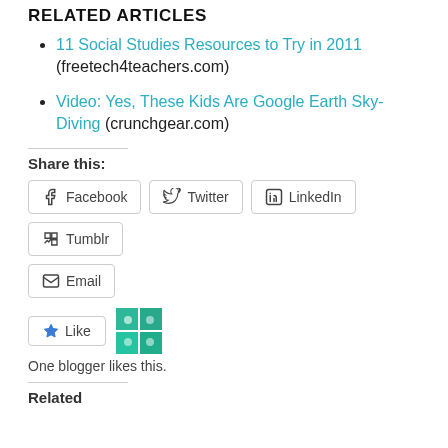RELATED ARTICLES
11 Social Studies Resources to Try in 2011 (freetech4teachers.com)
Video: Yes, These Kids Are Google Earth Sky-Diving (crunchgear.com)
Share this:
[Figure (other): Social share buttons: Facebook, Twitter, LinkedIn, Tumblr, Email]
[Figure (other): Like button with star icon and blogger avatar mosaic]
One blogger likes this.
Related